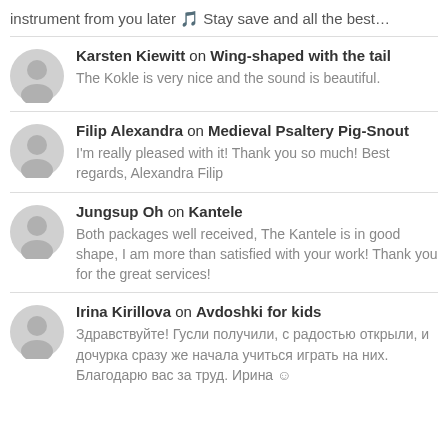instrument from you later 🎵 Stay save and all the best…
Karsten Kiewitt on Wing-shaped with the tail
The Kokle is very nice and the sound is beautiful.
Filip Alexandra on Medieval Psaltery Pig-Snout
I'm really pleased with it! Thank you so much! Best regards, Alexandra Filip
Jungsup Oh on Kantele
Both packages well received, The Kantele is in good shape, I am more than satisfied with your work! Thank you for the great services!
Irina Kirillova on Avdoshki for kids
Здравствуйте! Гусли получили, с радостью открыли, и дочурка сразу же начала учиться играть на них. Благодарю вас за труд. Ирина ☺